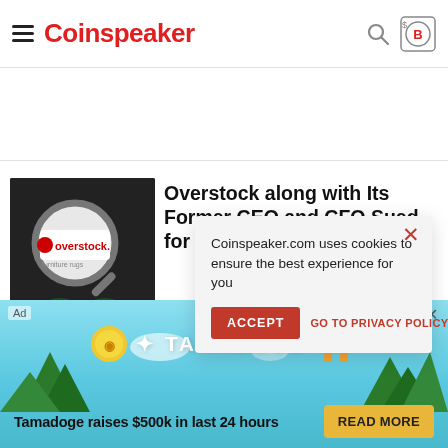Coinspeaker
[Figure (screenshot): Overstock website logo shown under magnifying glass on dark background]
Overstock along with Its Former CEO and CFO Sued for Securities Fraud
Coinspeaker.com uses cookies to ensure the best experience for you
ACCEPT
GO TO PRIVACY POLICY
[Figure (infographic): Tamadoge advertisement banner with coin logo, dog character, trees background]
Tamadoge raises $500k in last 24 hours
READ MORE